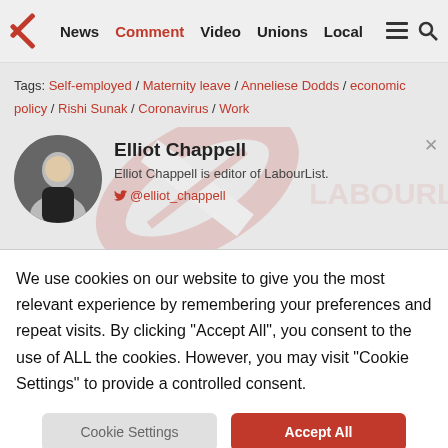News | Comment | Video | Unions | Local
Tags: Self-employed / Maternity leave / Anneliese Dodds / economic policy / Rishi Sunak / Coronavirus / Work
Elliot Chappell
Elliot Chappell is editor of LabourList.
@elliot_chappell
We use cookies on our website to give you the most relevant experience by remembering your preferences and repeat visits. By clicking "Accept All", you consent to the use of ALL the cookies. However, you may visit "Cookie Settings" to provide a controlled consent.